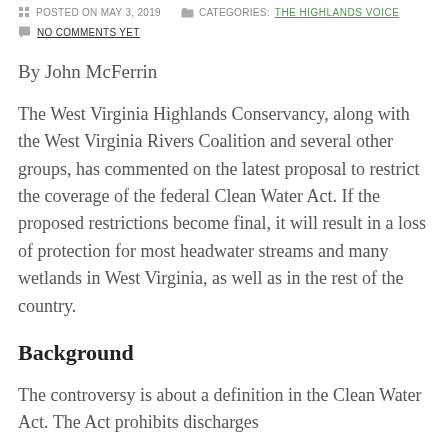POSTED ON MAY 3, 2019   CATEGORIES: THE HIGHLANDS VOICE
NO COMMENTS YET
By John McFerrin
The West Virginia Highlands Conservancy, along with the West Virginia Rivers Coalition and several other groups, has commented on the latest proposal to restrict the coverage of the federal Clean Water Act. If the proposed restrictions become final, it will result in a loss of protection for most headwater streams and many wetlands in West Virginia, as well as in the rest of the country.
Background
The controversy is about a definition in the Clean Water Act. The Act prohibits discharges